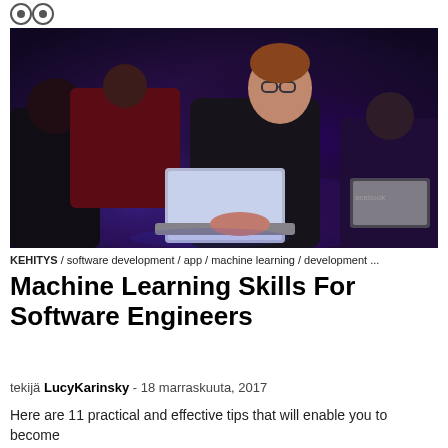[Figure (photo): A man wearing glasses and a black t-shirt sits on a floor working on a laptop at what appears to be a hackathon or tech event with purple/blue lighting. Other people with laptops are visible in the background.]
KEHITYS / software development / app / machine learning / development ...
Machine Learning Skills For Software Engineers
tekijä LucyKarinsky - 18 marraskuuta, 2017
Here are 11 practical and effective tips that will enable you to become